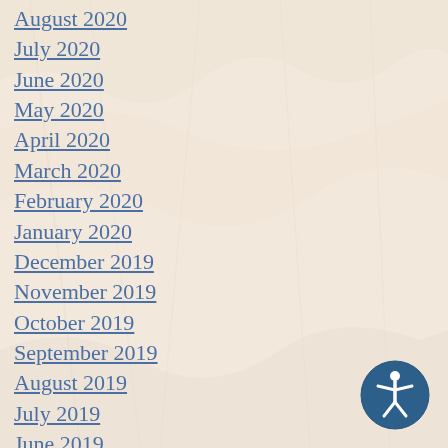August 2020
July 2020
June 2020
May 2020
April 2020
March 2020
February 2020
January 2020
December 2019
November 2019
October 2019
September 2019
August 2019
July 2019
June 2019
May 2019
April 2019
March 2019
February 2019
January 2019
December 2018
November 2018
[Figure (illustration): Accessibility icon — blue circle with white stick figure person with outstretched arms]